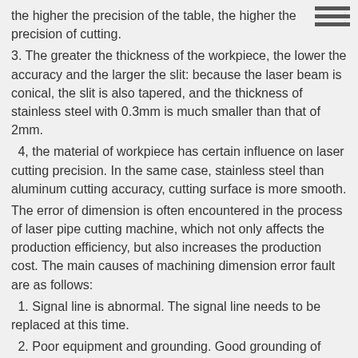the higher the precision of the table, the higher the precision of cutting.
3. The greater the thickness of the workpiece, the lower the accuracy and the larger the slit: because the laser beam is conical, the slit is also tapered, and the thickness of stainless steel with 0.3mm is much smaller than that of 2mm.
4, the material of workpiece has certain influence on laser cutting precision. In the same case, stainless steel than aluminum cutting accuracy, cutting surface is more smooth.
The error of dimension is often encountered in the process of laser pipe cutting machine, which not only affects the production efficiency, but also increases the production cost. The main causes of machining dimension error fault are as follows:
1. Signal line is abnormal. The signal line needs to be replaced at this time.
2. Poor equipment and grounding. Good grounding of equipment and computers is required at this point.
3.The computer is not working properly. The computer needs to be repaired or replaced.